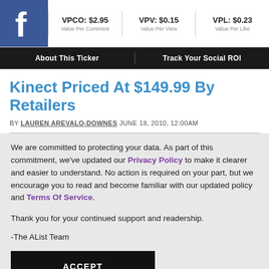VPCO: $2.95 Value Per Comment | VPV: $0.15 Value Per View | VPL: $0.23 Value Per Like
About This Ticker | Track Your Social ROI
Kinect Priced At $149.99 By Retailers
BY LAUREN AREVALO-DOWNES JUNE 18, 2010, 12:00AM
We are committed to protecting your data. As part of this commitment, we've updated our Privacy Policy to make it clearer and easier to understand. No action is required on your part, but we encourage you to read and become familiar with our updated policy and Terms Of Service.

Thank you for your continued support and readership.

-The AList Team
ACCEPT